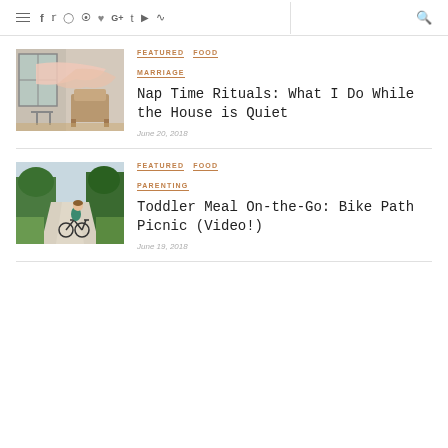Navigation bar with menu, social icons (facebook, twitter, instagram, pinterest, heart, google+, tumblr, youtube, rss), and search
FEATURED   FOOD   MARRIAGE
Nap Time Rituals: What I Do While the House is Quiet
June 20, 2018
[Figure (photo): Indoor scene with draped fabric/canopy over furniture, soft light, cozy room setup]
FEATURED   FOOD   PARENTING
Toddler Meal On-the-Go: Bike Path Picnic (Video!)
June 19, 2018
[Figure (photo): Young child riding a balance bike on a path with green trees in background]